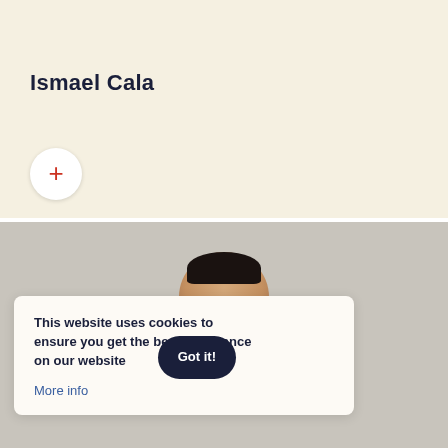Ismael Cala
[Figure (photo): Plus button icon (white circle with red plus sign) on a cream/beige background]
[Figure (photo): Photograph of a person's head and upper body against a gray background, partially obscured by a cookie consent banner]
This website uses cookies to ensure you get the best experience on our website
Got it!
More info